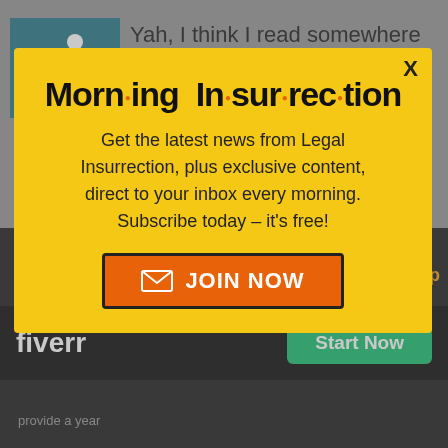[Figure (screenshot): Background webpage with accessibility icon and partially visible text: 'Yah, I think I read somewhere that polygraphs are really only useful as a tool to point']
[Figure (infographic): Yellow modal popup for Morning Insurrection newsletter subscription with 'JOIN NOW' button]
Morn·ing In·sur·rec·tion
Get the latest news from Legal Insurrection, plus exclusive content, direct to your inbox every morning. Subscribe today – it's free!
[Figure (infographic): Fiverr advertisement bar at bottom with 'Start Now' button]